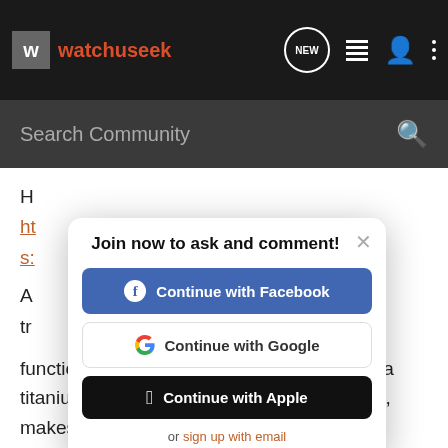watchuseek
Search Community
H
ht
s:
A
tr
T
w
w
m
functionality into such a tiny package. With a titanium carbide coating and sapphire glass, makes it virtually scratch resistant.
Join now to ask and comment!
[Figure (screenshot): Continue with Facebook button (blue)]
[Figure (screenshot): Continue with Google button (white with Google G logo)]
[Figure (screenshot): Continue with Apple button (black)]
or sign up with email